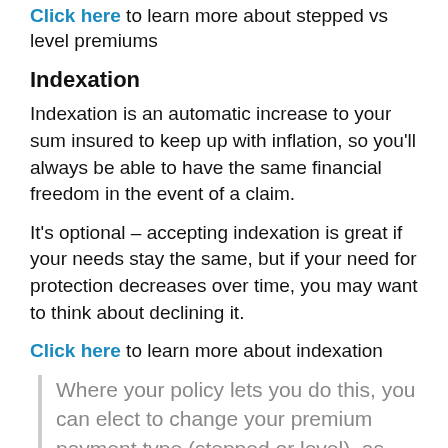Click here to learn more about stepped vs level premiums
Indexation
Indexation is an automatic increase to your sum insured to keep up with inflation, so you'll always be able to have the same financial freedom in the event of a claim.
It's optional – accepting indexation is great if your needs stay the same, but if your need for protection decreases over time, you may want to think about declining it.
Click here to learn more about indexation
Where your policy lets you do this, you can elect to change your premium payment type (stepped or level), as well as switch off indexation – but we recommend